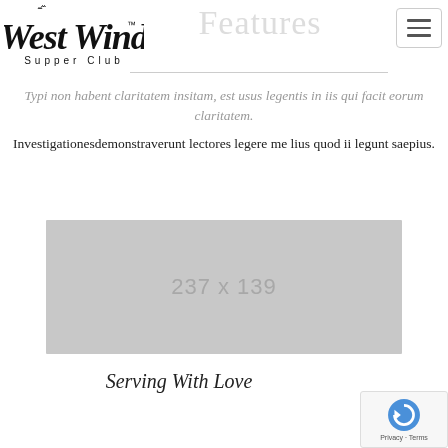[Figure (logo): West Wind Supper Club logo — stylized cursive 'West Wind' text above 'Supper Club' in spaced caps, with TM mark]
Features
Typi non habent claritatem insitam, est usus legentis in iis qui facit eorum claritatem.
Investigationesdemonstraverunt lectores legere me lius quod ii legunt saepius.
[Figure (photo): Placeholder image showing dimensions 237 x 139]
Serving With Love